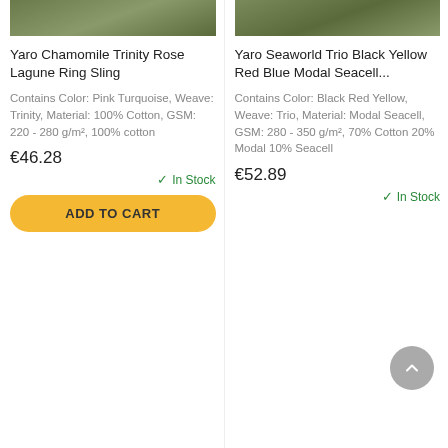[Figure (photo): Product image for Yaro Chamomile Trinity Rose Lagune Ring Sling (left column, top, partially cropped)]
[Figure (photo): Product image for Yaro Seaworld Trio Black Yellow Red Blue Modal Seacell (right column, top, partially cropped)]
Yaro Chamomile Trinity Rose Lagune Ring Sling
Contains Color: Pink Turquoise, Weave: Trinity, Material: 100% Cotton, GSM: 220 - 280 g/m², 100% cotton
€46.28
✓ In Stock
ADD TO CART
Yaro Seaworld Trio Black Yellow Red Blue Modal Seacell...
Contains Color: Black Red Yellow, Weave: Trio, Material: Modal Seacell, GSM: 280 - 350 g/m², 70% Cotton 20% Modal 10% Seacell
€52.89
✓ In Stock